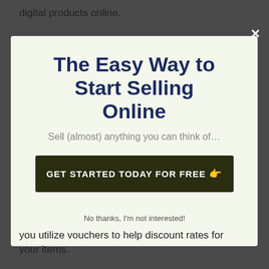digital products online.
[Figure (screenshot): Modal popup with title 'The Easy Way to Start Selling Online', subtitle 'Sell (almost) anything you can think of...', and a dark CTA button 'GET STARTED TODAY FOR FREE 👉' on a light cream background, with an X close button in the top right corner.]
No thanks, I'm not interested!
you utilize vouchers to help discount rates for your items.